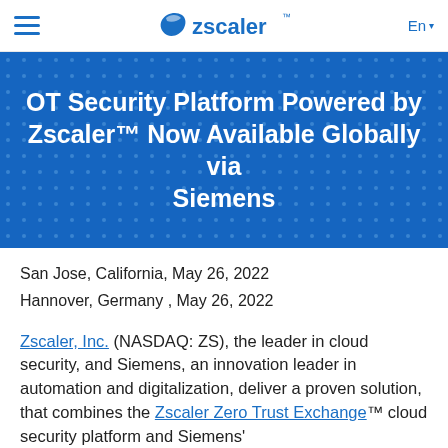Zscaler — En
OT Security Platform Powered by Zscaler™ Now Available Globally via Siemens
San Jose, California, May 26, 2022
Hannover, Germany , May 26, 2022
Zscaler, Inc. (NASDAQ: ZS), the leader in cloud security, and Siemens, an innovation leader in automation and digitalization, deliver a proven solution, that combines the Zscaler Zero Trust Exchange™ cloud security platform and Siemens'